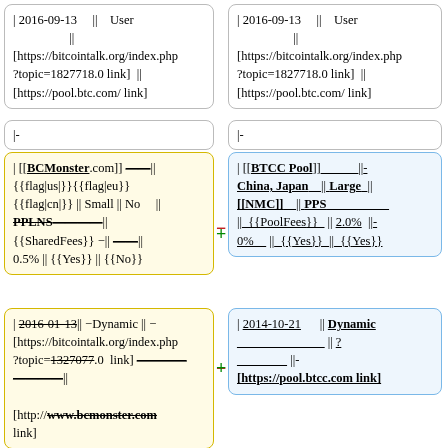| 2016-09-13 || User || [https://bitcointalk.org/index.php?topic=1827718.0 link] || [https://pool.btc.com/ link]
| 2016-09-13 || User || [https://bitcointalk.org/index.php?topic=1827718.0 link] || [https://pool.btc.com/ link]
|-
|-
| [[BCMonster.com]] —|| {{flag|us|}}{{flag|eu}} {{flag|cn|}} || Small || No || PPLNS——|| {{SharedFees}} −|| —|| 0.5% || {{Yes}} || {{No}}
| [[BTCC Pool]]___|| China, Japan || Large || [[NMC]]__|| PPS__||_{{PoolFees}}_|| 2.0%_|| 0%___||_{{Yes}}_||_{{Yes}}
| 2016-01-13|| −Dynamic || −[https://bitcointalk.org/index.php?topic=1327077.0 link]———|| [http://www.bcmonster.com link]
| 2014-10-21 || Dynamic___||?___||- [https://pool.btcc.com link]